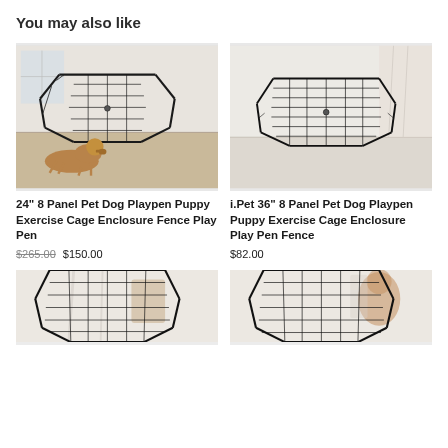You may also like
[Figure (photo): Dog playpen with 8 panels, black metal wire fence forming an octagonal enclosure, a brown dog lying in front of it on a light wood floor, white room background]
24" 8 Panel Pet Dog Playpen Puppy Exercise Cage Enclosure Fence Play Pen
$265.00 $150.00
[Figure (photo): i.Pet 8 panel black metal wire pet dog playpen enclosure forming hexagonal shape, seen from front, white/neutral room background]
i.Pet 36" 8 Panel Pet Dog Playpen Puppy Exercise Cage Enclosure Play Pen Fence
$82.00
[Figure (photo): Partial view of black metal wire dog playpen, cut off at bottom of page, light curtain background]
[Figure (photo): Partial view of black metal wire dog playpen, cut off at bottom of page, similar room background]